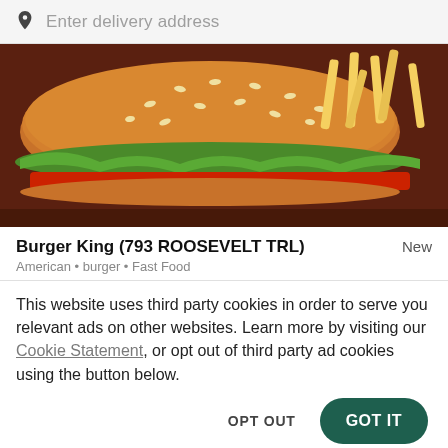Enter delivery address
[Figure (photo): Burger King food photo showing a sesame seed bun burger with lettuce, tomato, and french fries on a dark brown background]
Burger King (793 ROOSEVELT TRL)
New
American • burger • Fast Food
This website uses third party cookies in order to serve you relevant ads on other websites. Learn more by visiting our Cookie Statement, or opt out of third party ad cookies using the button below.
OPT OUT
GOT IT